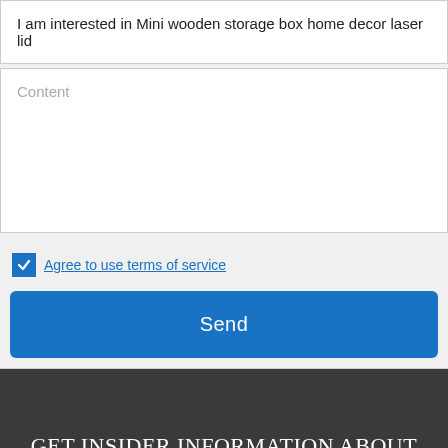I am interested in Mini wooden storage box home decor laser lid
Content
Agree to use terms of service
Send
GET INSIDER INFORMATION ABOUT EXCLUSIVE OFFERS, EVENTS AND MORE!